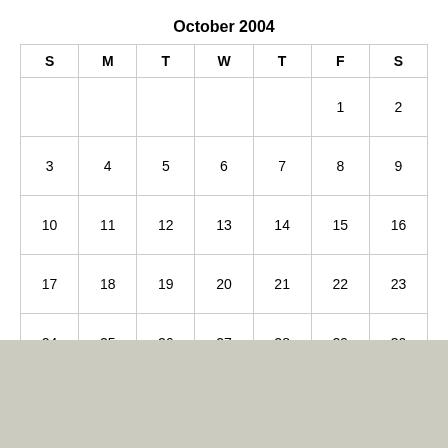October 2004
| S | M | T | W | T | F | S |
| --- | --- | --- | --- | --- | --- | --- |
|  |  |  |  |  | 1 | 2 |
| 3 | 4 | 5 | 6 | 7 | 8 | 9 |
| 10 | 11 | 12 | 13 | 14 | 15 | 16 |
| 17 | 18 | 19 | 20 | 21 | 22 | 23 |
| 24 | 25 | 26 | 27 | 28 | 29 | 30 |
| 31 |  |  |  |  |  |  |
« Sep   Nov »